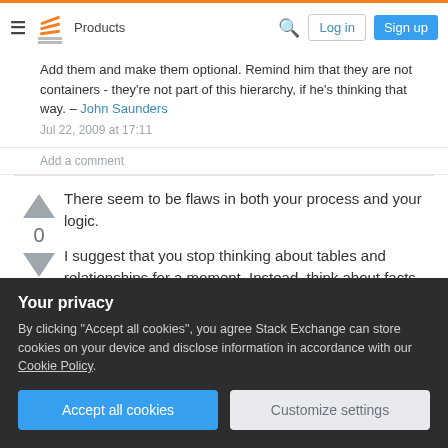≡ [Stack Overflow Logo] Products 🔍 Log in Sign up
Add them and make them optional. Remind him that they are not containers - they're not part of this hierarchy, if he's thinking that way. – John Saunders Jul 22, 2009 at 17:11
Add a comment
There seem to be flaws in both your process and your logic.
I suggest that you stop thinking about tables and relationships for a moment. Instead, think about facts. Make a list of valid addresses that your
Your privacy
By clicking "Accept all cookies", you agree Stack Exchange can store cookies on your device and disclose information in accordance with our Cookie Policy.
Accept all cookies
Customize settings
depends on the carrier. For example, my PO box is